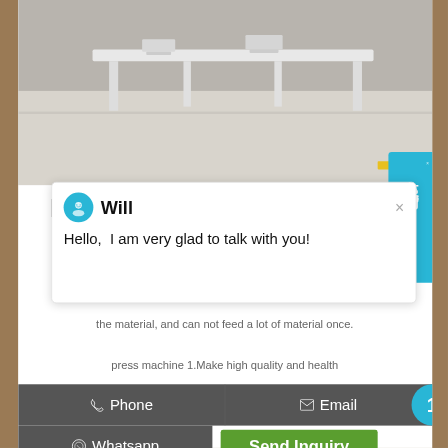[Figure (photo): Product photo showing white tables/chairs in a room setting, partially visible at top of page]
high yield cotton seed oil press machine seed oil extraction
Cotton Seed Oil Press-oil press machinery,oil
[Figure (screenshot): Chat popup overlay with avatar icon, agent name 'Will', and message 'Hello, I am very glad to talk with you!']
the material, and can not feed a lot of material once.
press machine 1.Make high quality and health
Phone
Email
Whatsapp
Send Inquiry